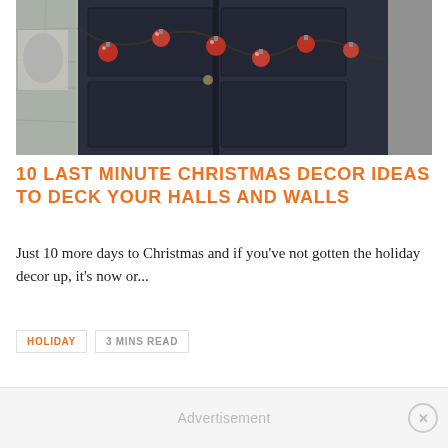[Figure (photo): A dark navy/black double door with Christmas lights garland strung across it, featuring small red ornament shapes. Stone wall visible on left side.]
10 LAST MINUTE CHRISTMAS DECOR IDEAS TO DECK YOUR HALLS AND WALLS
Just 10 more days to Christmas and if you've not gotten the holiday decor up, it's now or...
HOLIDAY
3 MINS READ
Advertisement